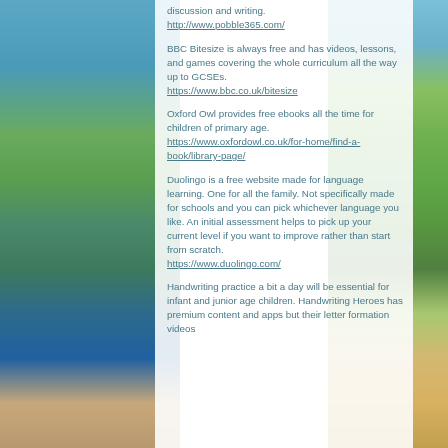discussion and writing.
http://www.pobble365.com/
BBC Bitesize is always free and has videos, lessons, and games covering the whole curriculum all the way up to GCSEs.
https://www.bbc.co.uk/bitesize
Oxford Owl provides free ebooks all the time for children of primary age.
https://www.oxfordowl.co.uk/for-home/find-a-book/library-page/
Duolingo is a free website made for language learning. One for all the family. Not specifically made for schools and you can pick whichever language you like. An initial assessment helps to pick up your current level if you want to improve rather than start from scratch.
https://www.duolingo.com/
Handwriting practice a bit a day will be essential for infant and junior age children. Handwriting Heroes has premium content and apps but their letter formation videos...